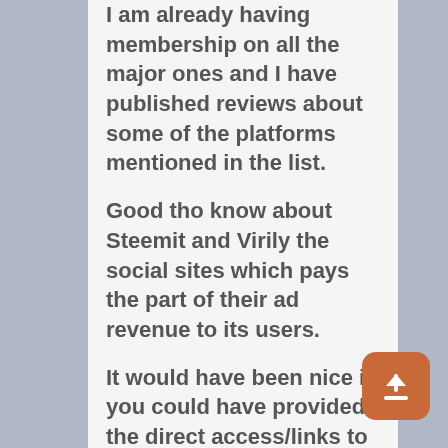I am already having membership on all the major ones and I have published reviews about some of the platforms mentioned in the list.
Good tho know about Steemit and Virily the social sites which pays the part of their ad revenue to its users.
It would have been nice if you could have provided the direct access/links to these platforms.
Anyways I am bookmarking it for my further read.
May you have a profitable weekend.